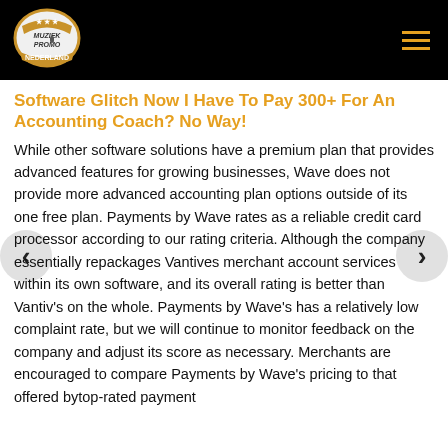[Figure (logo): Muziek Promo Nederland logo — shield/badge shape in gold and white on black background]
Software Glitch Now I Have To Pay 300+ For An Accounting Coach? No Way!
While other software solutions have a premium plan that provides advanced features for growing businesses, Wave does not provide more advanced accounting plan options outside of its one free plan. Payments by Wave rates as a reliable credit card processor according to our rating criteria. Although the company essentially repackages Vantives merchant account services within its own software, and its overall rating is better than Vantiv's on the whole. Payments by Wave's has a relatively low complaint rate, but we will continue to monitor feedback on the company and adjust its score as necessary. Merchants are encouraged to compare Payments by Wave's pricing to that offered bytop-rated payment